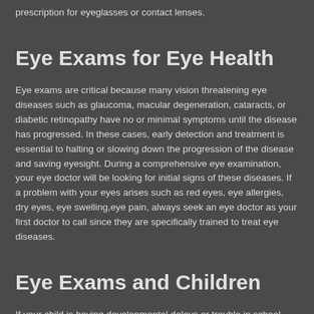prescription for eyeglasses or contact lenses.
Eye Exams for Eye Health
Eye exams are critical because many vision threatening eye diseases such as glaucoma, macular degeneration, cataracts, or diabetic retinopathy have no or minimal symptoms until the disease has progressed. In these cases, early detection and treatment is essential to halting or slowing down the progression of the disease and saving eyesight. During a comprehensive eye examination, your eye doctor will be looking for initial signs of these diseases. If a problem with your eyes arises such as red eyes, eye allergies, dry eyes, eye swelling,eye pain, always seek an eye doctor as your first doctor to call since they are specifically trained to treat eye diseases.
Eye Exams and Children
If your child is having developmental delays or trouble in school there could be an underlying vision problem. Proper learning,